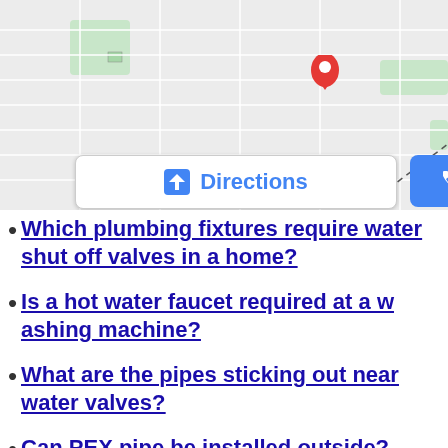[Figure (map): Google Maps screenshot showing street map with a red location pin marker and a yellow diagonal road/highway. A dashed line extends from the pin. Shows urban street grid with some green areas.]
Which plumbing fixtures require water shut off valves in a home?
Is a hot water faucet required at a washing machine?
What are the pipes sticking out near water valves?
Can PEX pipe be installed outside?
What is the difference between water...